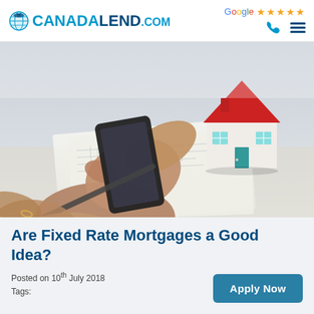[Figure (logo): CanadaLend.com logo with globe icon]
[Figure (infographic): Google five-star rating with phone and menu icons]
[Figure (photo): Photo of hands using a smartphone over house blueprints with a miniature house model on a desk]
Are Fixed Rate Mortgages a Good Idea?
Posted on 10th July 2018
Tags:
Apply Now